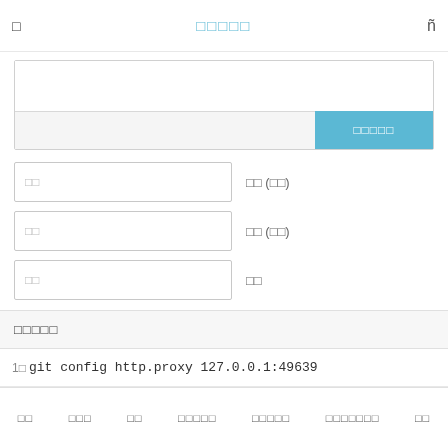□　　　　□□□□□　　　　fl
[Figure (screenshot): UI form with textarea and blue submit button, three input fields with labels]
□□□□□
1↵git config http.proxy 127.0.0.1:49639
홈　　□□□　　□□　　□□□□□　　□□□□□　　□□□□□□□　　□□